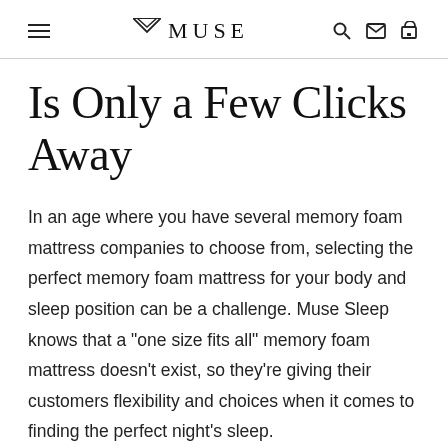≡  MUSE  🔍 ✉ 🛒
Is Only a Few Clicks Away
In an age where you have several memory foam mattress companies to choose from, selecting the perfect memory foam mattress for your body and sleep position can be a challenge. Muse Sleep knows that a "one size fits all" memory foam mattress doesn't exist, so they're giving their customers flexibility and choices when it comes to finding the perfect night's sleep.